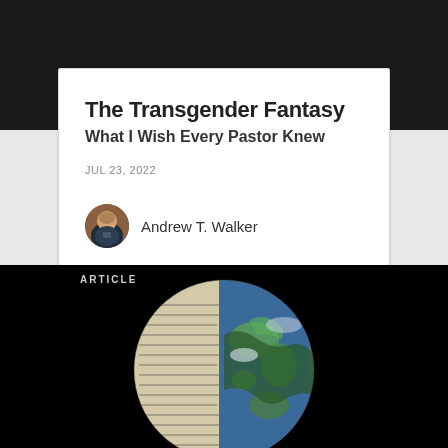[Figure (photo): Dark banner at top of page, part of article card background]
The Transgender Fantasy
What I Wish Every Pastor Knew
JUL 23, 2022
[Figure (photo): Circular avatar photo of Andrew T. Walker, a man in a suit]
Andrew T. Walker
[Figure (photo): Black background section with ARTICLE label and a circular globe/earth image overlaid with text/bible pages]